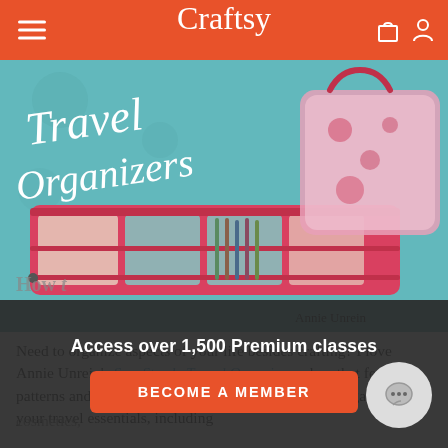Craftsy
[Figure (photo): Promotional banner image for 'Sew Sturdy Travel Organizers' class by Annie Unrein, showing quilted travel organizer bags in pink and teal fabrics with cursive text 'Travel Organizers' overlaid]
Need to organize aspects of your life besides crafting? I love Annie Unrein's Sew Sturdy Travel Organizers class that features patterns and instruction for making bags perfect for organizing all your travel essentials, including cosmetics, [box]
Access over 1,500 Premium classes
BECOME A MEMBER